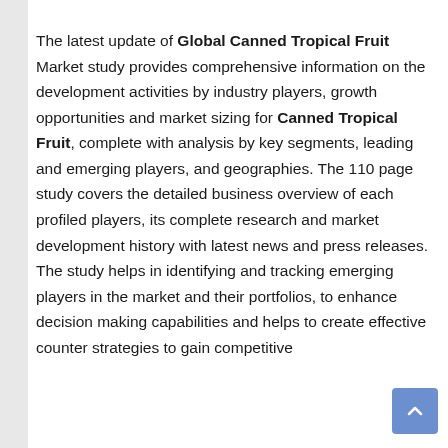The latest update of Global Canned Tropical Fruit Market study provides comprehensive information on the development activities by industry players, growth opportunities and market sizing for Canned Tropical Fruit, complete with analysis by key segments, leading and emerging players, and geographies. The 110 page study covers the detailed business overview of each profiled players, its complete research and market development history with latest news and press releases. The study helps in identifying and tracking emerging players in the market and their portfolios, to enhance decision making capabilities and helps to create effective counter strategies to gain competitive